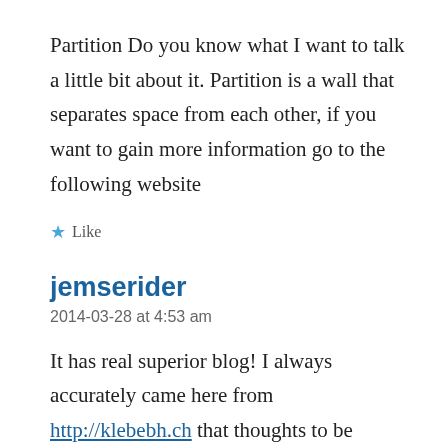Partition Do you know what I want to talk a little bit about it. Partition is a wall that separates space from each other, if you want to gain more information go to the following website
★ Like
jemserider
2014-03-28 at 4:53 am
It has real superior blog! I always accurately came here from http://klebebh.ch that thoughts to be enthusiastic resinous portion antipasti tapeline in the humans and it's really functional.